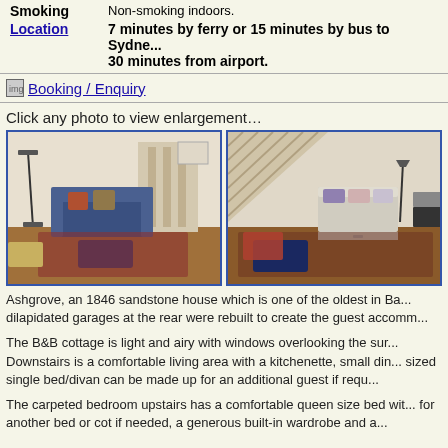| Smoking | Non-smoking indoors. |
| Location | 7 minutes by ferry or 15 minutes by bus to Sydney. 30 minutes from airport. |
Booking / Enquiry
Click any photo to view enlargement…
[Figure (photo): Interior photo of a living room with blue sofa, ottomans, patterned rug, staircase and floor lamps]
[Figure (photo): Interior photo showing a bed under a staircase with colorful cushions, ottomans and patterned rug]
Ashgrove, an 1846 sandstone house which is one of the oldest in Ba... dilapidated garages at the rear were rebuilt to create the guest accomm...
The B&B cottage is light and airy with windows overlooking the sur... Downstairs is a comfortable living area with a kitchenette, small din... sized single bed/divan can be made up for an additional guest if requ...
The carpeted bedroom upstairs has a comfortable queen size bed wit... for another bed or cot if needed, a generous built-in wardrobe and a...